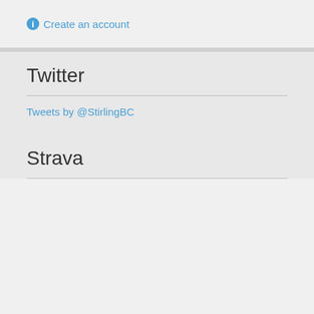Create an account
Twitter
Tweets by @StirlingBC
Strava